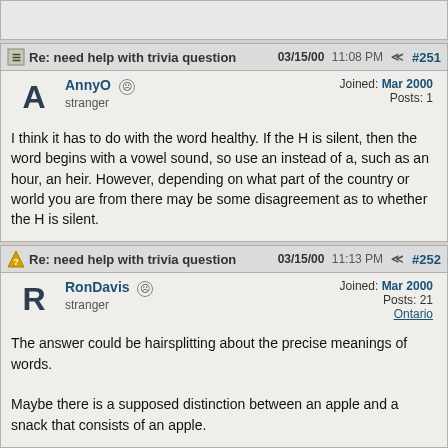Re: need help with trivia question — 03/15/00 11:08 PM #251 — AnnyO, stranger, Joined: Mar 2000, Posts: 1
I think it has to do with the word healthy. If the H is silent, then the word begins with a vowel sound, so use an instead of a, such as an hour, an heir. However, depending on what part of the country or world you are from there may be some disagreement as to whether the H is silent.
Re: need help with trivia question — 03/15/00 11:13 PM #252 — RonDavis, stranger, Joined: Mar 2000, Posts: 21, Ontario
The answer could be hairsplitting about the precise meanings of words.

Maybe there is a supposed distinction between an apple and a snack that consists of an apple.